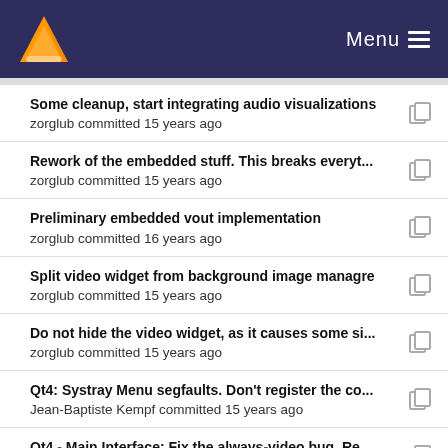VLC Menu
Some cleanup, start integrating audio visualizations
zorglub committed 15 years ago
Rework of the embedded stuff. This breaks everyt...
zorglub committed 15 years ago
Preliminary embedded vout implementation
zorglub committed 16 years ago
Split video widget from background image managre
zorglub committed 15 years ago
Do not hide the video widget, as it causes some si...
zorglub committed 15 years ago
Qt4: Systray Menu segfaults. Don't register the co...
Jean-Baptiste Kempf committed 15 years ago
Qt4 - Main Interface: Fix the always-video bug. Re...
Jean-Baptiste Kempf committed 15 years ago